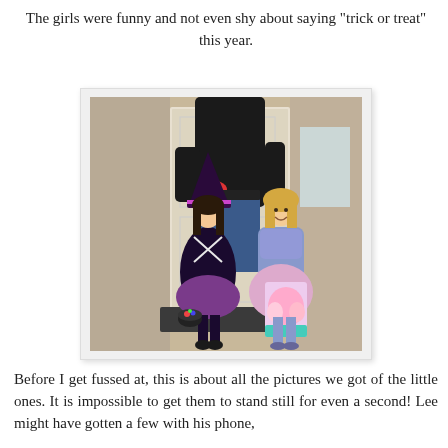The girls were funny and not even shy about saying "trick or treat" this year.
[Figure (photo): Two young girls in Halloween costumes standing at a front door with an adult behind them. The girl on the left wears a witch costume with a hat, the girl on the right wears a princess costume and holds a Disney Princess trick-or-treat bag. The adult holds a red bowl.]
Before I get fussed at, this is about all the pictures we got of the little ones. It is impossible to get them to stand still for even a second! Lee might have gotten a few with his phone,